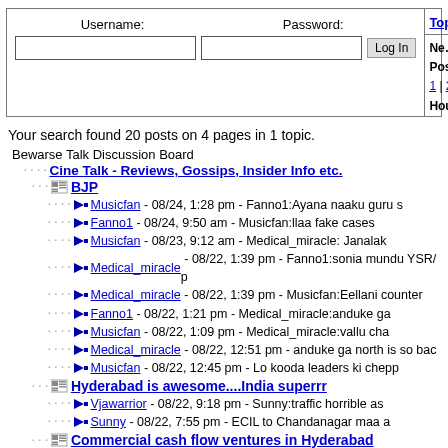[Figure (screenshot): Login form with Username and Password fields and Log In button, plus Topics panel on the right with navigation links]
Your search found 20 posts on 4 pages in 1 topic.
Bewarse Talk Discussion Board
Cine Talk - Reviews, Gossips, Insider Info etc.
BJP
Musicfan - 08/24, 1:28 pm - Fanno1:Ayana naaku guru s
Fanno1 - 08/24, 9:50 am - Musicfan:llaa fake cases
Musicfan - 08/23, 9:12 am - Medical_miracle: Janalak
Medical_miracle - 08/22, 1:39 pm - Fanno1:sonia mundu YSR/ p
Medical_miracle - 08/22, 1:39 pm - Musicfan:Eellani counter
Fanno1 - 08/22, 1:21 pm - Medical_miracle:anduke ga
Musicfan - 08/22, 1:09 pm - Medical_miracle:vallu cha
Medical_miracle - 08/22, 12:51 pm - anduke ga north is so bac
Musicfan - 08/22, 12:45 pm - Lo kooda leaders ki chepp
Hyderabad is awesome....India superrr
Vjawarrior - 08/22, 9:18 pm - Sunny:traffic horrible as
Sunny - 08/22, 7:55 pm - ECIL to Chandanagar maa a
Commercial cash flow ventures in Hyderabad